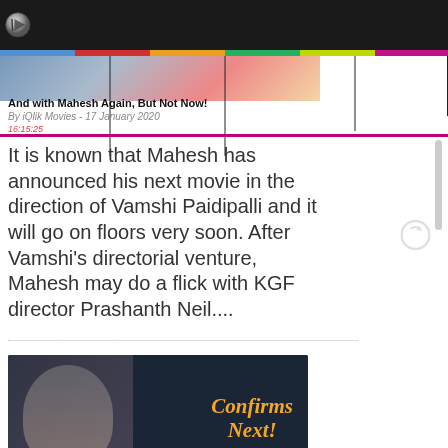[Figure (logo): iQlik Movies logo - circular metallic design on dark header bar]
And with Mahesh Again, But Not Now!
By iQlik Movies - 17 January 2020
16:15:25
It is known that Mahesh has announced his next movie in the direction of Vamshi Paidipalli and it will go on floors very soon. After Vamshi's directorial venture, Mahesh may do a flick with KGF director Prashanth Neil....
[Figure (photo): Super Star Mahesh photo with text overlay 'Confirms Next!' on dark background]
Super Star Mahesh Confirms His Next